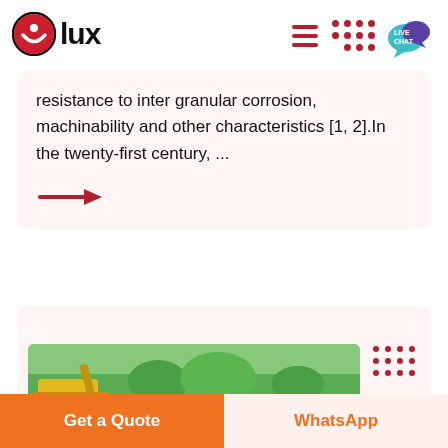[Figure (logo): Olux logo: red circle with white smile icon, followed by bold text 'lux']
resistance to inter granular corrosion, machinability and other characteristics [1, 2].In the twenty-first century, ...
[Figure (illustration): Red arrow pointing right]
[Figure (photo): Outdoor industrial mining or agricultural machinery scene with green trees in background]
Get a Quote
WhatsApp